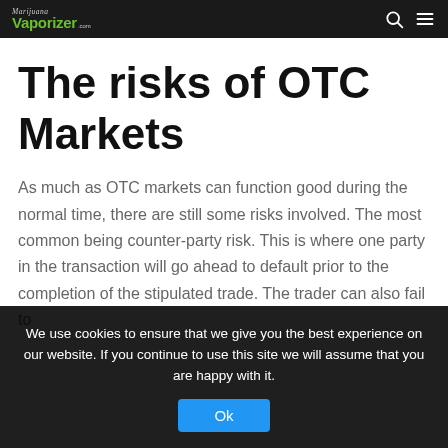Marijuana Vaporizer .com
The risks of OTC Markets
As much as OTC markets can function good during the normal time, there are still some risks involved. The most common being counter-party risk. This is where one party in the transaction will go ahead to default prior to the completion of the stipulated trade. The trader can also fail to
We use cookies to ensure that we give you the best experience on our website. If you continue to use this site we will assume that you are happy with it.